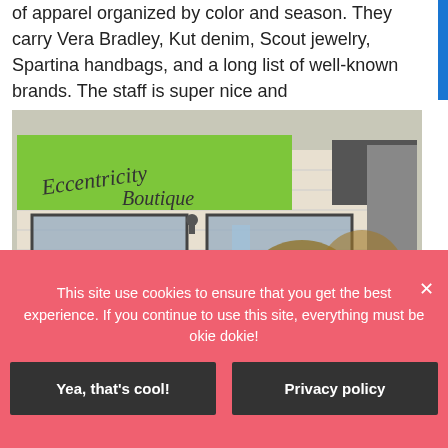of apparel organized by color and season. They carry Vera Bradley, Kut denim, Scout jewelry, Spartina handbags, and a long list of well-known brands. The staff is super nice and knowledgeable.
[Figure (photo): Exterior photo of a boutique store with a green awning reading 'Eccentricity Boutique', brick facade, large display windows, ornamental grasses and flowering plants in front.]
This site use cookies to ensure that you get the best experience. If you continue to use this site, everything must be okie dokie!
Yea, that's cool!
Privacy policy